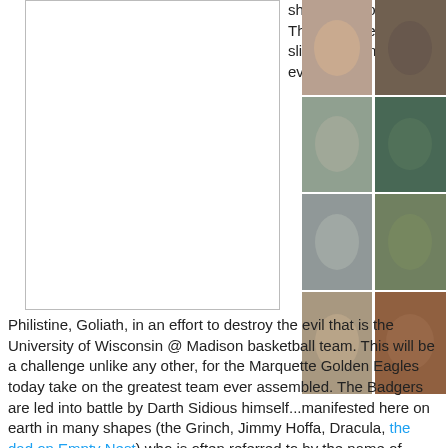[Figure (photo): Blank/white image placeholder box on the left side]
[Figure (photo): Grid of 8 photos showing a man (coach) next to the Grinch character in 4 rows of 2 columns]
shock the world today. They will attempt to sling the stone at the evil Philistine, Goliath, in an effort to destroy the evil that is the University of Wisconsin @ Madison basketball team. This will be a challenge unlike any other, for the Marquette Golden Eagles today take on the greatest team ever assembled. The Badgers are led into battle by Darth Sidious himself...manifested here on earth in many shapes (the Grinch, Jimmy Hoffa, Dracula, the dad on Empty Nest) who is often referred to by the name of William "Bo" Francis Ryan, God, his holiness, St. Bo, or just Bo.
Don't ever call him Francis....he'll kill you. He's from Philly, you know.